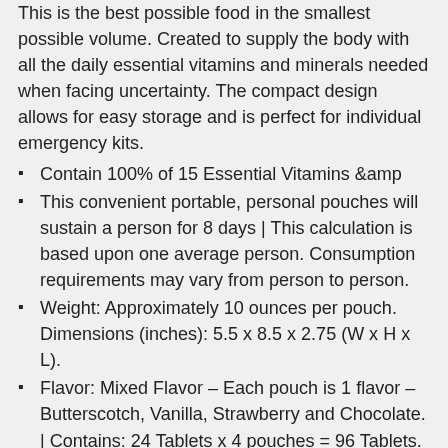This is the best possible food in the smallest possible volume. Created to supply the body with all the daily essential vitamins and minerals needed when facing uncertainty. The compact design allows for easy storage and is perfect for individual emergency kits.
Contain 100% of 15 Essential Vitamins &amp
This convenient portable, personal pouches will sustain a person for 8 days | This calculation is based upon one average person. Consumption requirements may vary from person to person.
Weight: Approximately 10 ounces per pouch. Dimensions (inches): 5.5 x 8.5 x 2.75 (W x H x L).
Flavor: Mixed Flavor – Each pouch is 1 flavor – Butterscotch, Vanilla, Strawberry and Chocolate. | Contains: 24 Tablets x 4 pouches = 96 Tablets. | Servings: 12 Chewable Tablets – 20 Calories per tab.